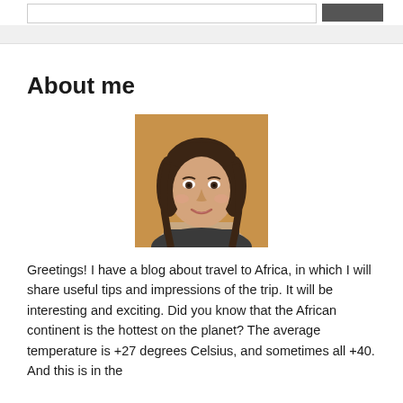[navigation bar with search input and button]
About me
[Figure (photo): Portrait photo of a young woman with dark hair, smiling, against a warm brown background]
Greetings! I have a blog about travel to Africa, in which I will share useful tips and impressions of the trip. It will be interesting and exciting. Did you know that the African continent is the hottest on the planet? The average temperature is +27 degrees Celsius, and sometimes all +40. And this is in the